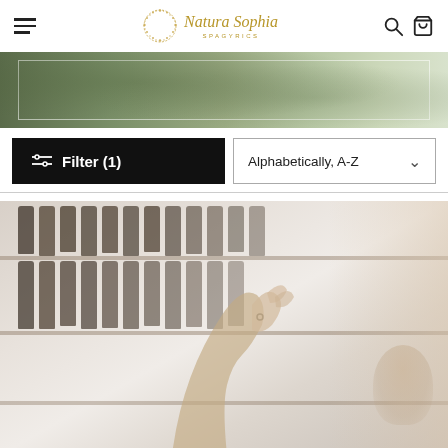[Figure (logo): Natura Sophia Spagyrics logo with gold circular floral wreath and italic script text]
[Figure (photo): Blurred outdoor nature/greenery background banner image with white rectangular border overlay]
Filter (1)
Alphabetically, A-Z
[Figure (photo): Person reaching for a bottle on a shelf stocked with dark glass medicine/tincture bottles, warm blurred background]